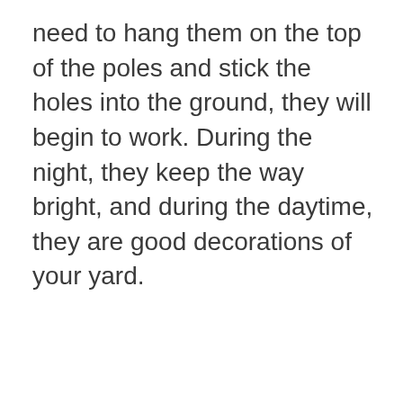need to hang them on the top of the poles and stick the holes into the ground, they will begin to work. During the night, they keep the way bright, and during the daytime, they are good decorations of your yard.